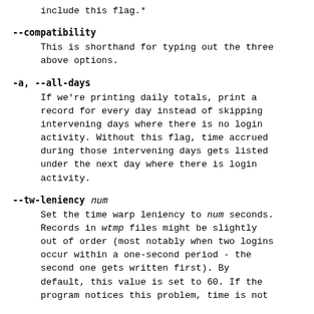include this flag.*
--compatibility
    This is shorthand for typing out the three above options.
-a, --all-days
    If we're printing daily totals, print a record for every day instead of skipping intervening days where there is no login activity. Without this flag, time accrued during those intervening days gets listed under the next day where there is login activity.
--tw-leniency num
    Set the time warp leniency to num seconds. Records in wtmp files might be slightly out of order (most notably when two logins occur within a one-second period - the second one gets written first). By default, this value is set to 60. If the program notices this problem, time is not